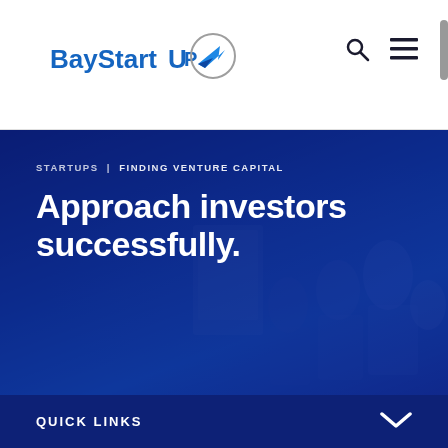[Figure (logo): BayStartUP logo with blue arrow/paper plane icon]
[Figure (screenshot): Hero banner with blue gradient background showing people in a meeting/pitch setting. Breadcrumb: STARTUPS | FINDING VENTURE CAPITAL. Title: Approach investors successfully.]
STARTUPS  |  FINDING VENTURE CAPITAL
Approach investors successfully.
QUICK LINKS